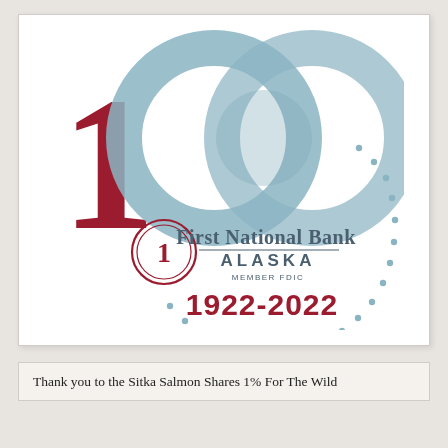[Figure (logo): First National Bank Alaska 100th anniversary logo (1922-2022). Features a large '100' with the '1' in dark red/crimson and two overlapping circles in muted blue. Below is the bank's circular logo with '1' inside, 'First National Bank ALASKA MEMBER FDIC' text, and '1922-2022' in crimson. A dotted arc curves around the right and bottom of the logo.]
Thank you to the Sitka Salmon Shares 1% For The Wild